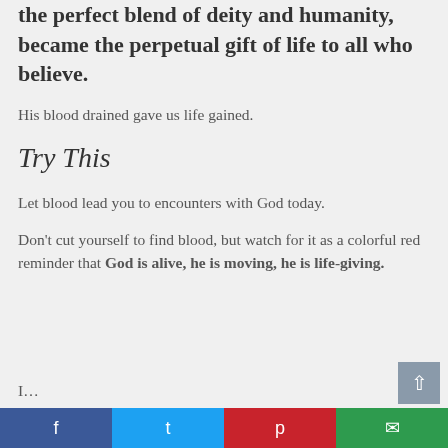the perfect blend of deity and humanity, became the perpetual gift of life to all who believe.
His blood drained gave us life gained.
Try This
Let blood lead you to encounters with God today.
Don't cut yourself to find blood, but watch for it as a colorful red reminder that God is alive, he is moving, he is life-giving.
I…
Facebook Twitter Pinterest Email